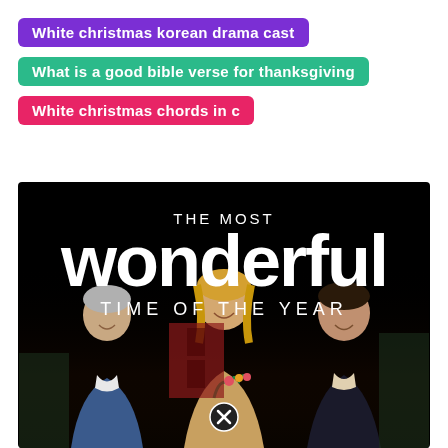White christmas korean drama cast
What is a good bible verse for thanksgiving
White christmas chords in c
[Figure (photo): Movie poster for 'The Most Wonderful Time of the Year' showing three people (two men and a woman) smiling in a snowy outdoor setting with a red door in the background. White text on black background reads 'THE MOST wonderful TIME OF THE YEAR'. A close/x button appears at the bottom center.]